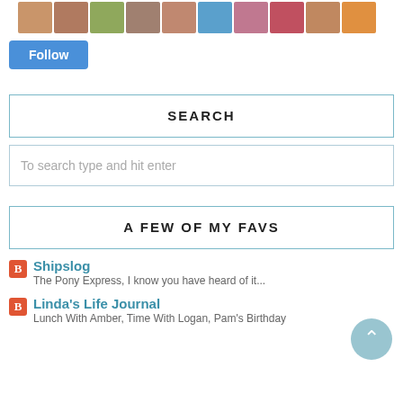[Figure (screenshot): Row of 10 small avatar/profile photo thumbnails]
Follow
SEARCH
To search type and hit enter
A FEW OF MY FAVS
Shipslog
The Pony Express, I know you have heard of it...
Linda's Life Journal
Lunch With Amber, Time With Logan, Pam's Birthday